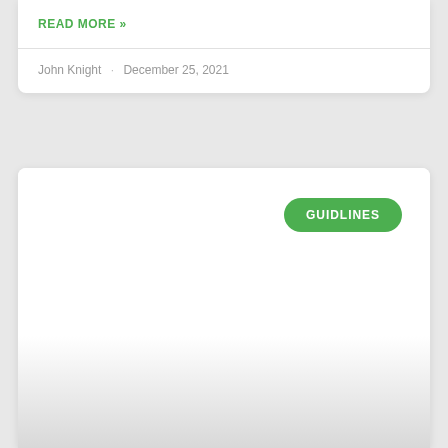READ MORE »
John Knight · December 25, 2021
GUIDLINES